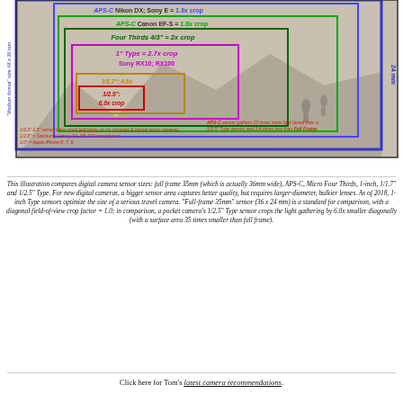[Figure (infographic): Diagram comparing digital camera sensor sizes: Full Frame (blue border), APS-C Nikon/Sony (blue inner), APS-C Canon EF-S (green), Four Thirds (dark green), 1-inch Type Sony RX10/RX100 (magenta), 1/1.7 inch (gold/orange), 1/2.5 inch (red), with annotations about crop factors and sensor light gathering. Background shows a mountain landscape photo. Labels include 24mm height, Medium Format 48x36mm side label, and text annotations about sensor sizes.]
This illustration compares digital camera sensor sizes: full frame 35mm (which is actually 36mm wide), APS-C, Micro Four Thirds, 1-inch, 1/1.7" and 1/2.5" Type. For new digital cameras, a bigger sensor area captures better quality, but requires larger-diameter, bulkier lenses. As of 2018, 1-inch Type sensors optimize the size of a serious travel camera. "Full-frame 35mm" sensor (36 x 24 mm) is a standard for comparison, with a diagonal field-of-view crop factor = 1.0; in comparison, a pocket camera's 1/2.5" Type sensor crops the light gathering by 6.0x smaller diagonally (with a surface area 35 times smaller than full frame).
Click here for Tom's latest camera recommendations.